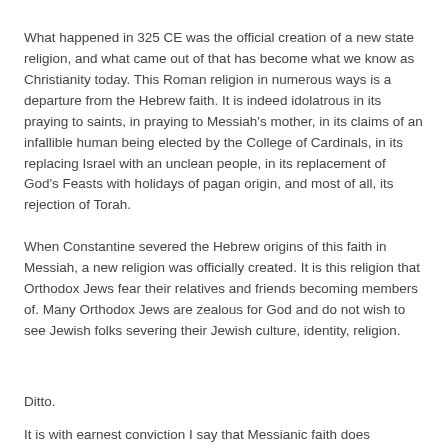What happened in 325 CE was the official creation of a new state religion, and what came out of that has become what we know as Christianity today. This Roman religion in numerous ways is a departure from the Hebrew faith. It is indeed idolatrous in its praying to saints, in praying to Messiah's mother, in its claims of an infallible human being elected by the College of Cardinals, in its replacing Israel with an unclean people, in its replacement of God's Feasts with holidays of pagan origin, and most of all, its rejection of Torah.
When Constantine severed the Hebrew origins of this faith in Messiah, a new religion was officially created. It is this religion that Orthodox Jews fear their relatives and friends becoming members of. Many Orthodox Jews are zealous for God and do not wish to see Jewish folks severing their Jewish culture, identity, religion.
Ditto.
It is with earnest conviction I say that Messianic faith does